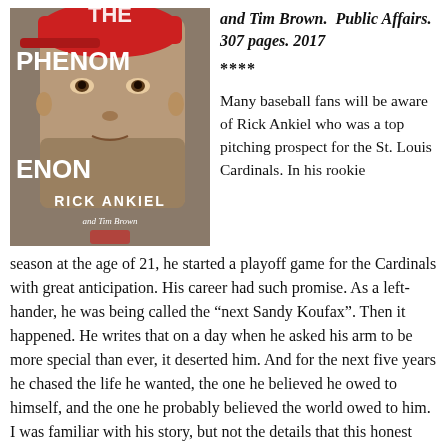[Figure (photo): Book cover of 'The Phenomenon' by Rick Ankiel and Tim Brown, showing a close-up of a man's face wearing a red cap, with large white text reading 'THE PHENOMENON', 'RICK ANKIEL', 'and Tim Brown']
and Tim Brown. Public Affairs. 307 pages. 2017
****
Many baseball fans will be aware of Rick Ankiel who was a top pitching prospect for the St. Louis Cardinals. In his rookie season at the age of 21, he started a playoff game for the Cardinals with great anticipation. His career had such promise. As a left-hander, he was being called the “next Sandy Koufax”. Then it happened. He writes that on a day when he asked his arm to be more special than ever, it deserted him. And for the next five years he chased the life he wanted, the one he believed he owed to himself, and the one he probably believed the world owed to him. I was familiar with his story, but not the details that this honest book will give you. I came away with a new